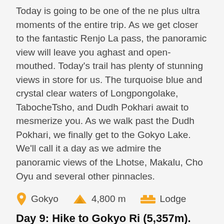Today is going to be one of the ne plus ultra moments of the entire trip. As we get closer to the fantastic Renjo La pass, the panoramic view will leave you aghast and open-mouthed. Today's trail has plenty of stunning views in store for us. The turquoise blue and crystal clear waters of Longpongolake, TabocheTsho, and Dudh Pokhari await to mesmerize you. As we walk past the Dudh Pokhari, we finally get to the Gokyo Lake. We'll call it a day as we admire the panoramic views of the Lhotse, Makalu, Cho Oyu and several other pinnacles.
Gokyo   4,800 m   Lodge
Day 9: Hike to Gokyo Ri (5,357m).
Only a few hours do not do justice to exploring and traversing around the surrounding of Gokyo. We spare the day to visit the nearby ThonakTsho Lake, NgozumaTsholake and Ngozumpa glacier, which also